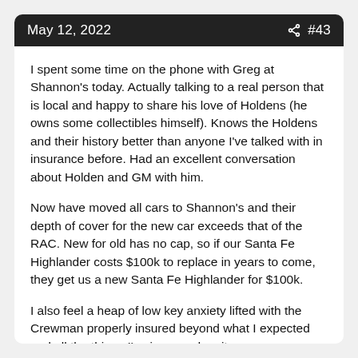May 12, 2022  #43
I spent some time on the phone with Greg at Shannon's today. Actually talking to a real person that is local and happy to share his love of Holdens (he owns some collectibles himself). Knows the Holdens and their history better than anyone I've talked with in insurance before. Had an excellent conversation about Holden and GM with him.
Now have moved all cars to Shannon's and their depth of cover for the new car exceeds that of the RAC. New for old has no cap, so if our Santa Fe Highlander costs $100k to replace in years to come, they get us a new Santa Fe Highlander for $100k.
I also feel a heap of low key anxiety lifted with the Crewman properly insured beyond what I expected and all the things I've improved on it.